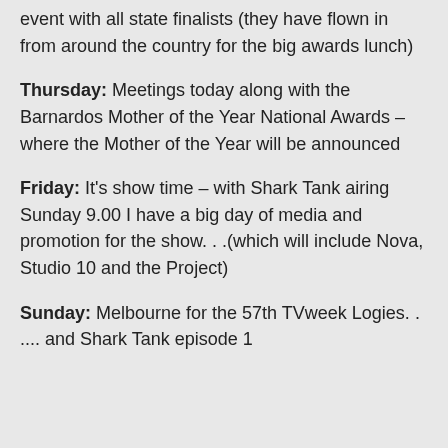event with all state finalists (they have flown in from around the country for the big awards lunch)
Thursday: Meetings today along with the Barnardos Mother of the Year National Awards – where the Mother of the Year will be announced
Friday: It's show time – with Shark Tank airing Sunday 9.00 I have a big day of media and promotion for the show. . .(which will include Nova, Studio 10 and the Project)
Sunday: Melbourne for the 57th TVweek Logies. . .... and Shark Tank episode 1